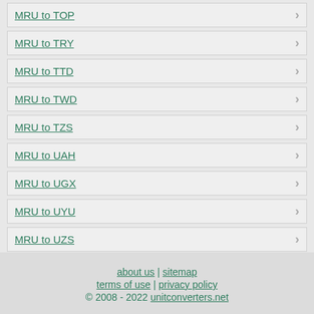MRU to TOP
MRU to TRY
MRU to TTD
MRU to TWD
MRU to TZS
MRU to UAH
MRU to UGX
MRU to UYU
MRU to UZS
about us | sitemap terms of use | privacy policy © 2008 - 2022 unitconverters.net